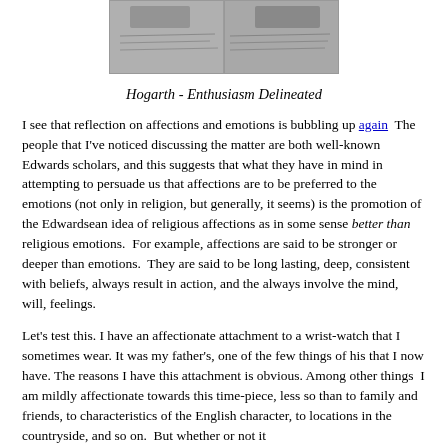[Figure (photo): Black and white photograph or print, appears to be Hogarth's Enthusiasm Delineated artwork showing handwritten notes and figures]
Hogarth - Enthusiasm Delineated
I see that reflection on affections and emotions is bubbling up again  The people that I've noticed discussing the matter are both well-known Edwards scholars, and this suggests that what they have in mind in attempting to persuade us that affections are to be preferred to the emotions (not only in religion, but generally, it seems) is the promotion of the Edwardsean idea of religious affections as in some sense better than religious emotions.  For example, affections are said to be stronger or deeper than emotions.  They are said to be long lasting, deep, consistent with beliefs, always result in action, and the always involve the mind, will, feelings.
Let's test this. I have an affectionate attachment to a wrist-watch that I sometimes wear. It was my father's, one of the few things of his that I now have. The reasons I have this attachment is obvious. Among other things  I am mildly affectionate towards this time-piece, less so than to family and friends, to characteristics of the English character, to locations in the countryside, and so on.  But whether or not it